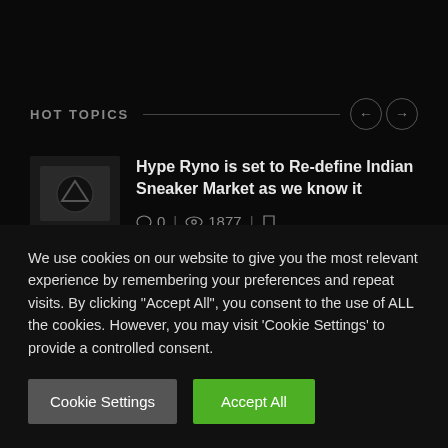HOT TOPICS
Hype Ryno is set to Re-define Indian Sneaker Market as we know it
0  |  1877  |
India Has Its Own STOCKX Now: Hype Ryno
We use cookies on our website to give you the most relevant experience by remembering your preferences and repeat visits. By clicking "Accept All", you consent to the use of ALL the cookies. However, you may visit 'Cookie Settings' to provide a controlled consent.
Cookie Settings
Accept All